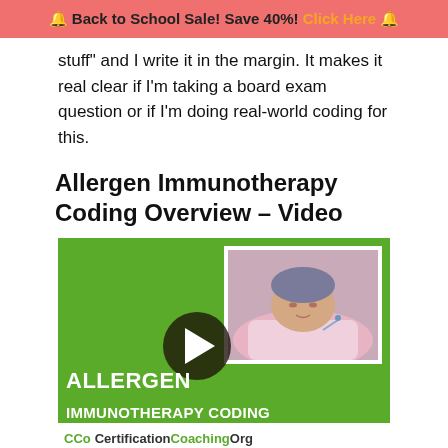🔔 Back to School Sale! Save 40%! Click Here 🔔
stuff" and I write it in the margin. It makes it real clear if I'm taking a board exam question or if I'm doing real-world coding for this.
Allergen Immunotherapy Coding Overview – Video
[Figure (screenshot): Video thumbnail for Allergen Immunotherapy Coding with green background, photo of sleeping patient with IV, play button overlay, text 'ALLERGEN IMMUNOTHERAPY CODING' and CertificationCoachingOrg logo bar at bottom.]